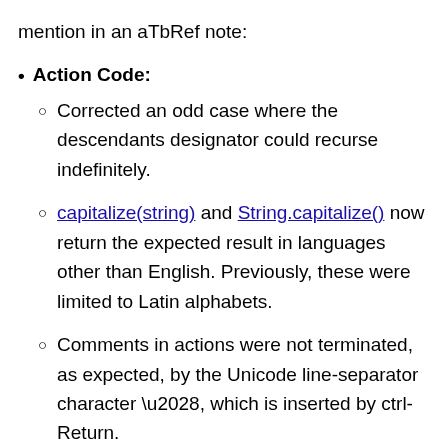mention in an aTbRef note:
Action Code:
Corrected an odd case where the descendants designator could recurse indefinitely.
capitalize(string) and String.capitalize() now return the expected result in languages other than English. Previously, these were limited to Latin alphabets.
Comments in actions were not terminated, as expected, by the Unicode line-separator character \u2028, which is inserted by ctrl-Return.
Changes to stamps are now reflected